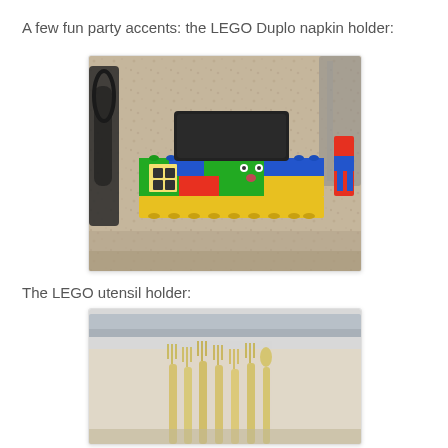A few fun party accents: the LEGO Duplo napkin holder:
[Figure (photo): Photo of a LEGO Duplo napkin holder built from colorful LEGO bricks (green, blue, yellow, red) holding a black napkin stack, sitting on a granite countertop with other party items in the background.]
The LEGO utensil holder:
[Figure (photo): Photo of a LEGO utensil holder with plastic forks and utensils stored inside, on a table at a party.]